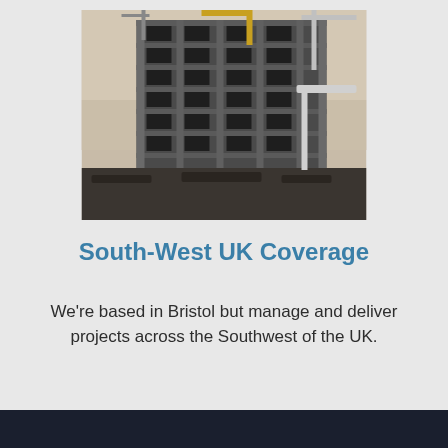[Figure (photo): A multi-storey building under construction with cranes visible, concrete skeleton structure, shot in hazy daylight conditions]
South-West UK Coverage
We're based in Bristol but manage and deliver projects across the Southwest of the UK.